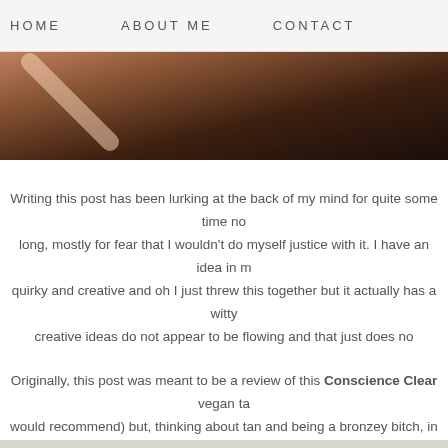HOME   ABOUT ME   CONTACT
[Figure (photo): Top partial photo showing a brown leather surface with diagonal light highlight, cropped at the top of the page.]
Writing this post has been lurking at the back of my mind for quite some time now, mostly for fear that I wouldn't do myself justice with it. I have an idea in my head – quirky and creative and oh I just threw this together but it actually has a witty and creative ideas do not appear to be flowing and that just does no
Originally, this post was meant to be a review of this Conscience Clear vegan ta would recommend) but, thinking about tan and being a bronzey bitch, in ge
[Figure (photo): Bottom photo showing a magazine open on a white wooden surface with a pink nail polish bottle and cap placed on top of the pages. A dark upward-pointing chevron arrow is visible in the lower right area of the photo.]